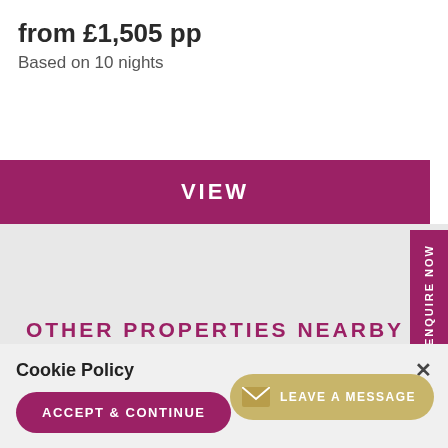from £1,505 pp
Based on 10 nights
VIEW
ENQUIRE NOW
OTHER PROPERTIES NEARBY
Cookie Policy
ACCEPT & CONTINUE
LEAVE A MESSAGE
Completely Croatia uses coo... on our website. By continuing, we assume you're ok with this.